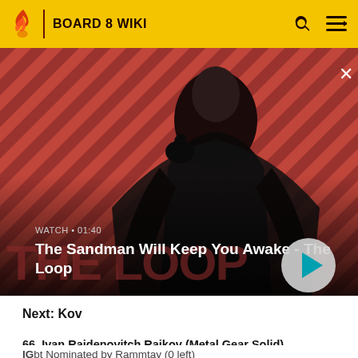BOARD 8 WIKI
[Figure (screenshot): Banner image showing a dark-robed figure with a raven on their shoulder against a red diagonal-striped background. Text overlay reads WATCH 01:40 and The Sandman Will Keep You Awake - The Loop with a play button.]
Next: Kov
66. Ivan Raidenovitch Raikov (Metal Gear Solid)
IGbt Nominated by Rammtay (0 left)
[Figure (photo): Partial thumbnail of a green-toned image, likely a game screenshot from Metal Gear Solid]